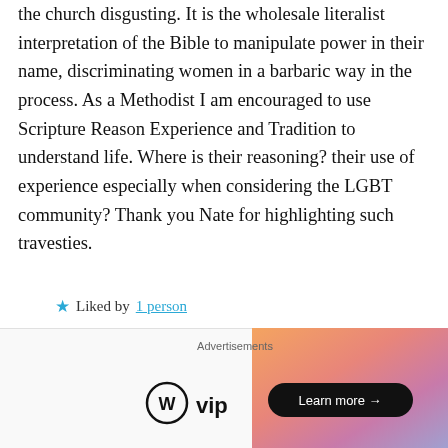the church disgusting. It is the wholesale literalist interpretation of the Bible to manipulate power in their name, discriminating women in a barbaric way in the process. As a Methodist I am encouraged to use Scripture Reason Experience and Tradition to understand life. Where is their reasoning? their use of experience especially when considering the LGBT community? Thank you Nate for highlighting such travesties.
Liked by 1 person
↳ Reply
Pingback: Diversions: a Response to Melissa Kruger
[Figure (screenshot): WordPress VIP advertisement banner with logo and Learn more button on gradient background]